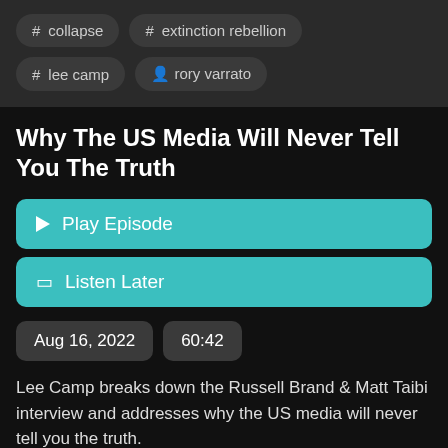# collapse
# extinction rebellion
# lee camp
rory varrato
Why The US Media Will Never Tell You The Truth
Play Episode
Listen Later
Aug 16, 2022
60:42
Lee Camp breaks down the Russell Brand & Matt Taibi interview and addresses why the US media will never tell you the truth.